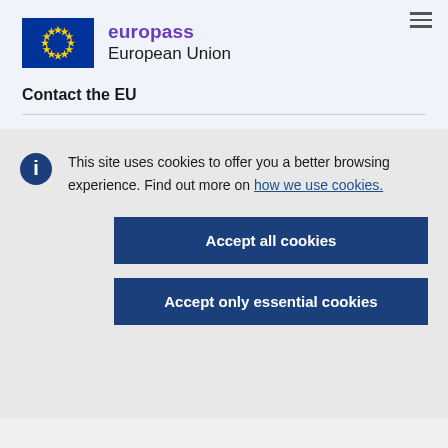[Figure (logo): Europass European Union logo with EU flag and text]
Contact the EU
This site uses cookies to offer you a better browsing experience. Find out more on how we use cookies.
Accept all cookies
Accept only essential cookies